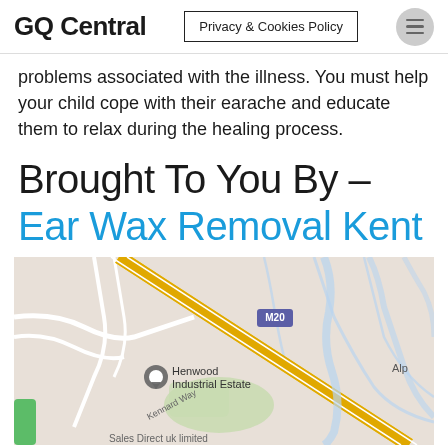GQ Central | Privacy & Cookies Policy
problems associated with the illness. You must help your child cope with their earache and educate them to relax during the healing process.
Brought To You By – Ear Wax Removal Kent
[Figure (map): Google Maps screenshot showing Henwood Industrial Estate near the M20 motorway. The map shows road networks, the M20 motorway marked in yellow, Kennard Way road label, Henwood Industrial Estate location pin, and 'Alp' text on the right side. A partial text 'Sales Direct uk limited' is visible at the bottom.]